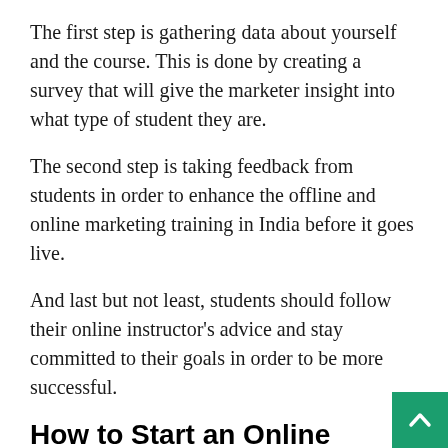The first step is gathering data about yourself and the course. This is done by creating a survey that will give the marketer insight into what type of student they are.
The second step is taking feedback from students in order to enhance the offline and online marketing training in India before it goes live.
And last but not least, students should follow their online instructor's advice and stay committed to their goals in order to be more successful.
How to Start an Online Course
A digital marketing institute in Delhi is a great way to learn about what it takes to grow a business, build the company that you have always wanted.